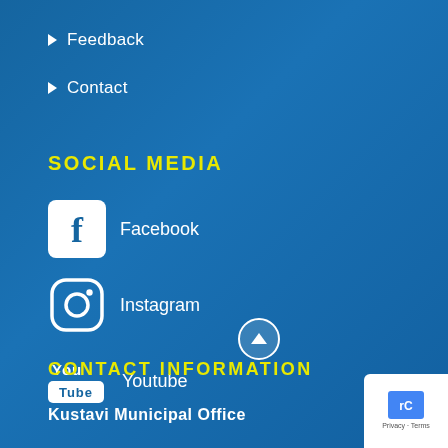Feedback
Contact
SOCIAL MEDIA
Facebook
Instagram
Youtube
CONTACT INFORMATION
Kustavi Municipal Office